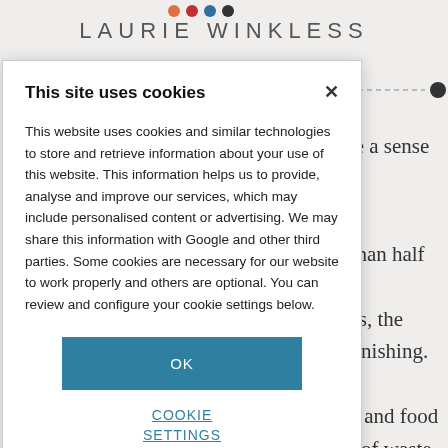LAURIE WINKLESS
induce a sense of oom, nore than half the n areas, the is astonishing. To water, and food nount of waste g experience. time into d upon me the
This site uses cookies
This website uses cookies and similar technologies to store and retrieve information about your use of this website. This information helps us to provide, analyse and improve our services, which may include personalised content or advertising. We may share this information with Google and other third parties. Some cookies are necessary for our website to work properly and others are optional. You can review and configure your cookie settings below.
OK
COOKIE SETTINGS